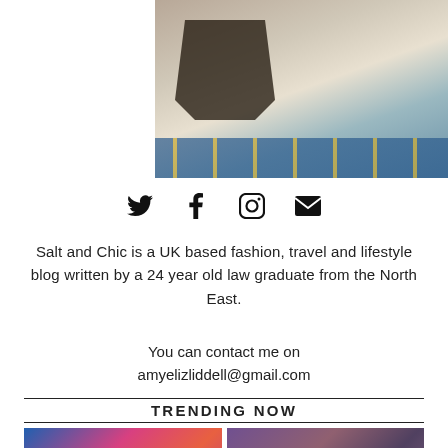[Figure (photo): Close-up photo of a person's feet wearing black platform sandals on a decorative tiled floor with blue and white mosaic pattern]
[Figure (infographic): Social media icons row: Twitter bird icon, Facebook f icon, Instagram camera icon, Email envelope icon]
Salt and Chic is a UK based fashion, travel and lifestyle blog written by a 24 year old law graduate from the North East.
You can contact me on amyelizliddell@gmail.com
TRENDING NOW
[Figure (photo): Thumbnail image with text overlay '10 SIGNS YOU WENT THROUGH A' showing women in colorful outfits]
[Figure (photo): Thumbnail image with text overlay 'WHY I STOPPED CARING SO MUCH' showing a person in a room]